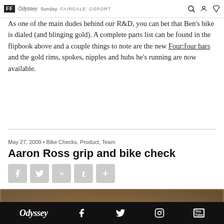FF Odyssey Sunday FAIRDALE GSPORT
As one of the main dudes behind our R&D, you can bet that Ben's bike is dialed (and blinging gold). A complete parts list can be found in the flipbook above and a couple things to note are the new Four:four bars and the gold rims, spokes, nipples and hubs he's running are now available.
May 27, 2009 • Bike Checks, Product, Team
Aaron Ross grip and bike check
[Figure (screenshot): Social share buttons: Facebook, Twitter, Reddit, Tumblr, Add]
[Figure (photo): Blurred close-up photo of a bicycle grip or component with brown/tan tones]
Odyssey — social media icons: Facebook, Twitter, Instagram, YouTube